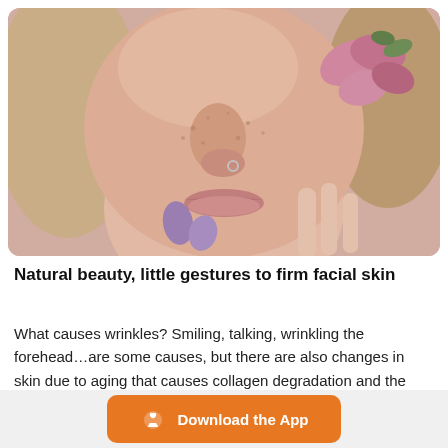[Figure (photo): Close-up photo of a young woman with freckles holding pink flower petals against her face, with petals near her eye and chin. She has a nose ring and blonde hair.]
Natural beauty, little gestures to firm facial skin
What causes wrinkles? Smiling, talking, wrinkling the forehead…are some causes, but there are also changes in skin due to aging that causes collagen degradation and the
[Figure (other): Orange rounded rectangle Download the App button with a white plant/leaf icon on the left and white bold text 'Download the App']